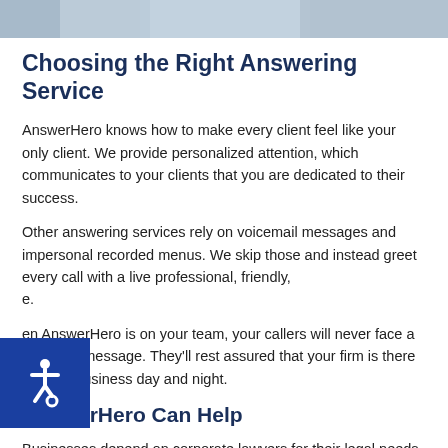[Figure (photo): Partial photo strip at the top of the page showing people in a professional setting]
Choosing the Right Answering Service
AnswerHero knows how to make every client feel like your only client. We provide personalized attention, which communicates to your clients that you are dedicated to their success.
Other answering services rely on voicemail messages and impersonal recorded menus. We skip those and instead greet every call with a live professional, friendly, e.
[Figure (illustration): Accessibility wheelchair icon in a blue square, overlaid on the page]
en AnswerHero is on your team, your callers will never face a recorded message. They'll rest assured that your firm is there for their business day and night.
AnswerHero Can Help
Businesses depend on corporate lawyers for their legal needs. The firm must handle many calls from clients,